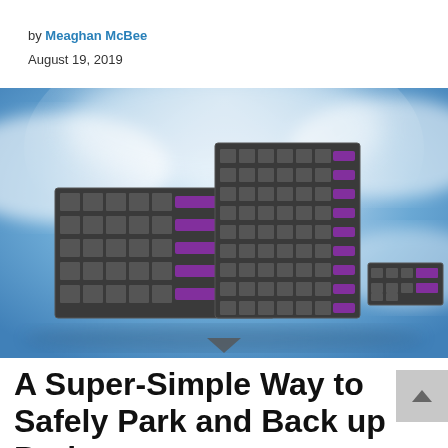by Meaghan McBee
August 19, 2019
[Figure (photo): Three HPE server/storage rack units arranged in a group against a blue cloudy sky background with a light beam effect. Servers are dark gray with purple/magenta accent lighting.]
A Super-Simple Way to Safely Park and Back up Projects to